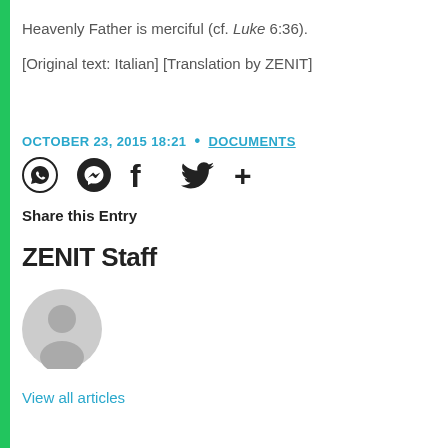Heavenly Father is merciful (cf. Luke 6:36).
[Original text: Italian] [Translation by ZENIT]
OCTOBER 23, 2015 18:21  •  DOCUMENTS
[Figure (infographic): Social sharing icons: WhatsApp, Messenger, Facebook, Twitter, and a plus icon]
Share this Entry
ZENIT Staff
[Figure (illustration): Gray circular avatar/profile placeholder icon]
View all articles